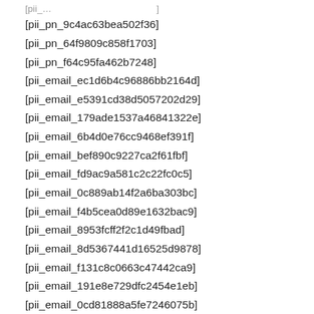[pii_pn_9c4ac63bea502f36]
[pii_pn_64f9809c858f1703]
[pii_pn_f64c95fa462b7248]
[pii_email_ec1d6b4c96886bb2164d]
[pii_email_e5391cd38d5057202d29]
[pii_email_179ade1537a46841322e]
[pii_email_6b4d0e76cc9468ef391f]
[pii_email_bef890c9227ca2f61fbf]
[pii_email_fd9ac9a581c2c22fc0c5]
[pii_email_0c889ab14f2a6ba303bc]
[pii_email_f4b5cea0d89e1632bac9]
[pii_email_8953fcff2f2c1d49fbad]
[pii_email_8d5367441d16525d9878]
[pii_email_f131c8c0663c47442ca9]
[pii_email_191e8e729dfc2454e1eb]
[pii_email_0cd81888a5fe7246075b]